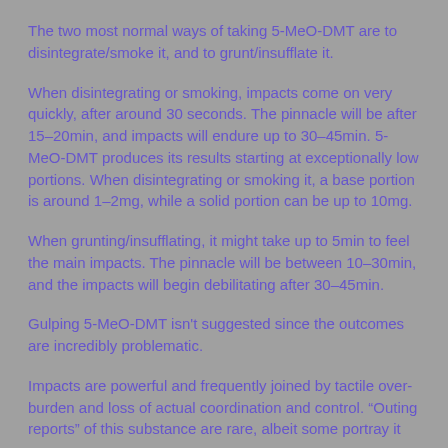The two most normal ways of taking 5-MeO-DMT are to disintegrate/smoke it, and to grunt/insufflate it.
When disintegrating or smoking, impacts come on very quickly, after around 30 seconds. The pinnacle will be after 15–20min, and impacts will endure up to 30–45min. 5-MeO-DMT produces its results starting at exceptionally low portions. When disintegrating or smoking it, a base portion is around 1–2mg, while a solid portion can be up to 10mg.
When grunting/insufflating, it might take up to 5min to feel the main impacts. The pinnacle will be between 10–30min, and the impacts will begin debilitating after 30–45min.
Gulping 5-MeO-DMT isn't suggested since the outcomes are incredibly problematic.
Impacts are powerful and frequently joined by tactile over-burden and loss of actual coordination and control. "Outing reports" of this substance are rare, albeit some portray it as